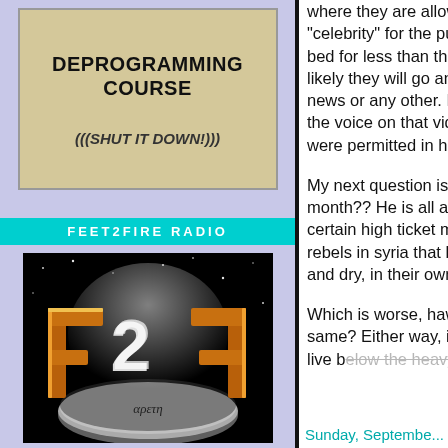[Figure (illustration): Book cover with beige/tan background showing title DEPROGRAMMING COURSE and subtitle (((SHUT IT DOWN!)))]
FEET2FIRE RADIO
[Figure (logo): Feet2Fire Radio logo showing stylized F2F letters in gold/orange with a moon and Greek text 'areth' on dark space background]
VIS' RADIO SHOWS
where they are allow... "celebrity" for the purp... bed for less than three... likely they will go and ... news or any other. No... the voice on that video... were permitted in his s...
My next question is, w... month?? He is all abo... certain high ticket mor... rebels in syria that bou... and dry, in their own c...
Which is worse, hawki... same? Either way, its... live below the heavy fe...
Sunday, September...